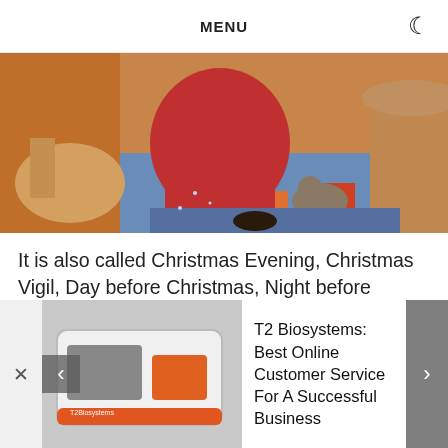MENU
[Figure (photo): Christmas scene with Santa Claus, wrapped gifts, a Christmas tree with ornaments, a cat, and a rocking horse on a blue rug]
It is also called Christmas Evening, Christmas Vigil, Day before Christmas, Night before Christmas, celebrated all over the world by Christians. The Celebration is to honor the next day which is Christmas (Birthday of Jesus Christ).  Christmas E...
[Figure (photo): Advertisement banner showing a T2 Biosystems device (white and orange medical equipment box) with text: T2 Biosystems: Best Online Customer Service For A Successful Business]